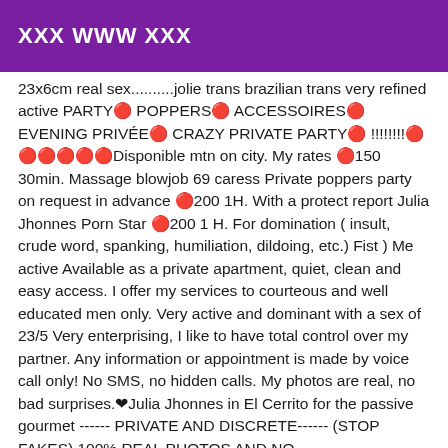XXX WWW XXX
23x6cm real sex..........jolie trans brazilian trans very refined active PARTY🔴 POPPERS🔴 ACCESSOIRES🔴 EVENING PRIVÉE🔴 CRAZY PRIVATE PARTY🔴 !!!!!!!!🔴 🔴🔴🔴🔴🔴Disponible mtn on city. My rates 🔴150 30min. Massage blowjob 69 caress Private poppers party on request in advance 🔴200 1H. With a protect report Julia Jhonnes Porn Star 🔴200 1 H. For domination ( insult, crude word, spanking, humiliation, dildoing, etc.) Fist ) Me active Available as a private apartment, quiet, clean and easy access. I offer my services to courteous and well educated men only. Very active and dominant with a sex of 23/5 Very enterprising, I like to have total control over my partner. Any information or appointment is made by voice call only! No SMS, no hidden calls. My photos are real, no bad surprises.❤Julia Jhonnes in El Cerrito for the passive gourmet ------ PRIVATE AND DISCRETE------ (STOP FAKES) 100% REAL PHOTOS AND NO